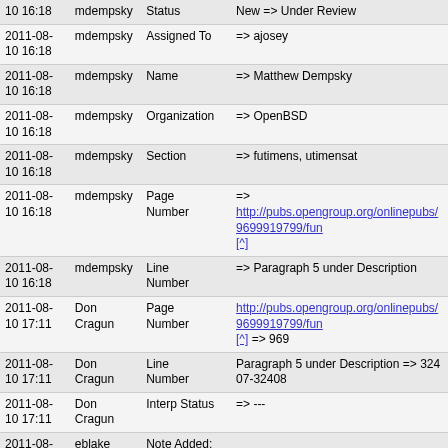| Date | User | Field | Change |
| --- | --- | --- | --- |
| 10 16:18 | mdempsky | Status | New => Under Review |
| 2011-08-10 16:18 | mdempsky | Assigned To | => ajosey |
| 2011-08-10 16:18 | mdempsky | Name | => Matthew Dempsky |
| 2011-08-10 16:18 | mdempsky | Organization | => OpenBSD |
| 2011-08-10 16:18 | mdempsky | Section | => futimens, utimensat |
| 2011-08-10 16:18 | mdempsky | Page Number | => http://pubs.opengroup.org/onlinepubs/9699919799/fun [^] |
| 2011-08-10 16:18 | mdempsky | Line Number | => Paragraph 5 under Description |
| 2011-08-10 17:11 | Don Cragun | Page Number | http://pubs.opengroup.org/onlinepubs/9699919799/fun [^] => 969 |
| 2011-08-10 17:11 | Don Cragun | Line Number | Paragraph 5 under Description => 32407-32408 |
| 2011-08-10 17:11 | Don Cragun | Interp Status | => --- |
| 2011-08-11 17:44 | eblake | Note Added: 0000939 |  |
| 2011-08-31 14:53 | geoffclare | Note Added: 0000947 |  |
| 2011-09-01 15:20 | eblake | Note Added: 0000949 |  |
| 2011-09-01 15:22 | eblake | Note Edited: 0000949 |  |